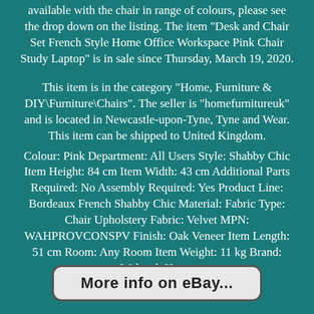available with the chair in range of colours, please see the drop down on the listing. The item "Desk and Chair Set French Style Home Office Workspace Pink Chair Study Laptop" is in sale since Thursday, March 19, 2020.
This item is in the category "Home, Furniture & DIY\Furniture\Chairs". The seller is "homefurnitureuk" and is located in Newcastle-upon-Tyne, Tyne and Wear. This item can be shipped to United Kingdom.
Colour: Pink Department: All Users Style: Shabby Chic Item Height: 84 cm Item Width: 43 cm Additional Parts Required: No Assembly Required: Yes Product Line: Bordeaux French Shabby Chic Material: Fabric Type: Chair Upholstery Fabric: Velvet MPN: WAHPROVCONSPV Finish: Oak Veneer Item Length: 51 cm Room: Any Room Item Weight: 11 kg Brand: Wahwah Home
More info on eBay...